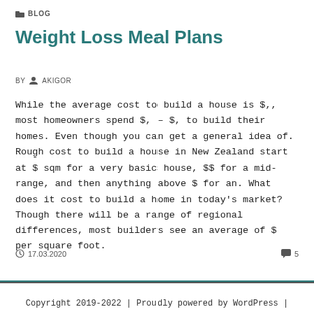BLOG
Weight Loss Meal Plans
BY AKIGOR
While the average cost to build a house is $,, most homeowners spend $, – $, to build their homes. Even though you can get a general idea of. Rough cost to build a house in New Zealand start at $ sqm for a very basic house, $$ for a mid-range, and then anything above $ for an. What does it cost to build a home in today's market? Though there will be a range of regional differences, most builders see an average of $ per square foot.
17.03.2020  5
Copyright 2019-2022 | Proudly powered by WordPress |